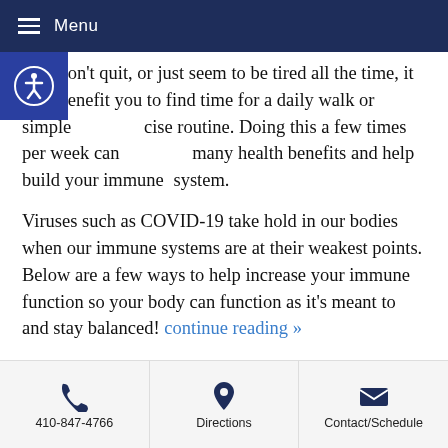Menu
that won't quit, or just seem to be tired all the time, it may benefit you to find time for a daily walk or simple exercise routine. Doing this a few times per week can have many health benefits and help build your immune system.
Viruses such as COVID-19 take hold in our bodies when our immune systems are at their weakest points. Below are a few ways to help increase your immune function so your body can function as it's meant to and stay balanced! continue reading »
410-847-4766 | Directions | Contact/Schedule